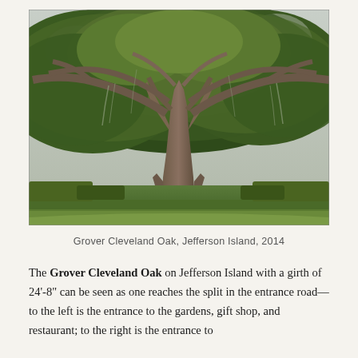[Figure (photo): A large, ancient live oak tree with massive spreading branches draped with Spanish moss, standing on a green lawn. The tree has a very thick trunk with multiple large limbs spreading wide. Photographed at Jefferson Island in 2014.]
Grover Cleveland Oak, Jefferson Island, 2014
The Grover Cleveland Oak on Jefferson Island with a girth of 24'-8" can be seen as one reaches the split in the entrance road—to the left is the entrance to the gardens, gift shop, and restaurant; to the right is the entrance to